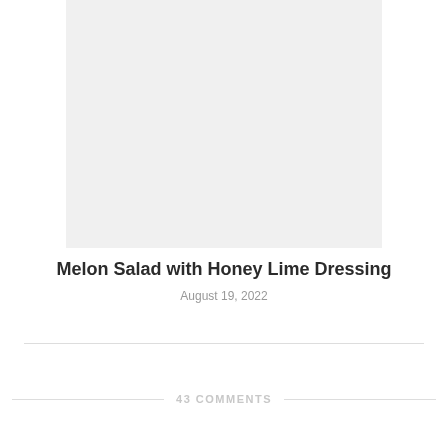[Figure (photo): Food photo placeholder — light gray rectangle representing an image of melon salad with honey lime dressing]
Melon Salad with Honey Lime Dressing
August 19, 2022
43 COMMENTS